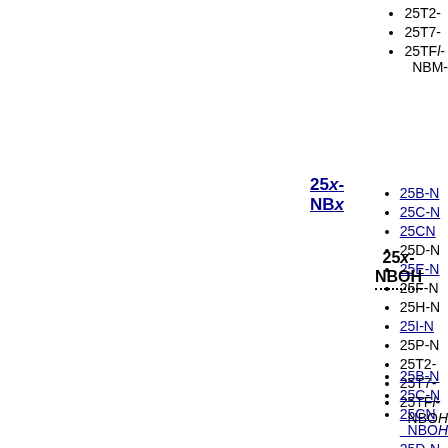25T2-
25T7-
25TFl-NBM
25x-NBx
25B-N
25C-N
25CN
25D-N
25E-N
25F-N
25H-N
25I-N
25P-N
25x-NBOH
25T2-
25T7-
25TFl-NBOH
25B-N
25C-N
25CN-NBOH
25D-N
25E-N